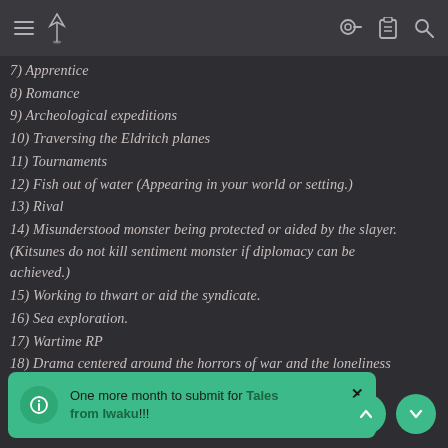Navigation bar with hamburger menu, logo, key icon, clipboard icon, search icon
7) Apprentice
8) Romance
9) Archeological expeditions
10) Traversing the Eldritch planes
11) Tournaments
12) Fish out of water (Appearing in your world or setting.)
13) Rival
14) Misunderstood monster being protected or aided by the slayer. (Kitsunes do not kill sentiment monster if diplomacy can be achieved.)
15) Working to thwart or aid the syndicate.
16) Sea exploration.
17) Wartime RP
18) Drama centered around the horrors of war and the loneliness of E...
One more month to submit for Tales from Iwaku!!!